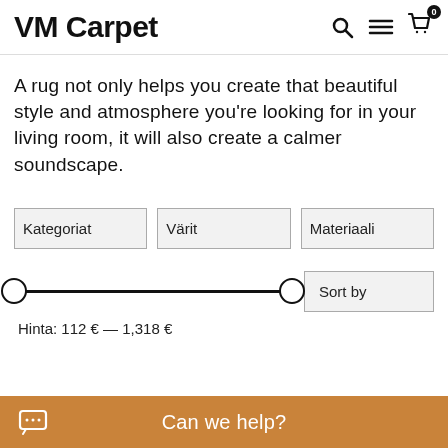VM Carpet
A rug not only helps you create that beautiful style and atmosphere you're looking for in your living room, it will also create a calmer soundscape.
Kategoriat  Värit  Materiaali
Sort by
Hinta: 112 € — 1,318 €
Can we help?